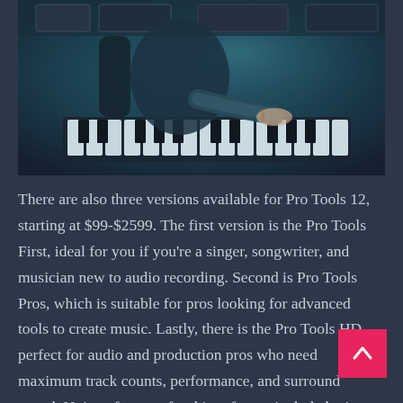[Figure (photo): Person sitting at a music production studio keyboard/synthesizer setup, viewed from behind/side angle. Dark teal and blue tones. Professional recording equipment visible.]
There are also three versions available for Pro Tools 12, starting at $99-$2599. The first version is the Pro Tools First, ideal for you if you're a singer, songwriter, and musician new to audio recording. Second is Pro Tools Pros, which is suitable for pros looking for advanced tools to create music. Lastly, there is the Pro Tools HD, perfect for audio and production pros who need maximum track counts, performance, and surround sound. Unique features for this software include letting you work with up to 10 collaborators in the cloud on a single project, keeps all version history and data organized for you,